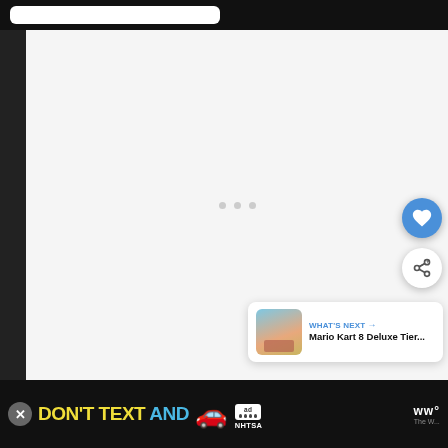[Figure (screenshot): Top black navigation bar with white rounded rectangle input/search bar]
[Figure (screenshot): Large light grey content area with three small grey loading dots in the center, a blue circular heart/favorite FAB button, a white circular share FAB button on the right side, and a 'WHAT'S NEXT' card showing Mario Kart 8 Deluxe Tier... thumbnail and text]
[Figure (screenshot): Bottom advertisement banner with black background showing 'DON'T TEXT AND' in yellow/cyan bold text with a red car emoji, ad logo, NHTSA branding, close button, and weather app icon]